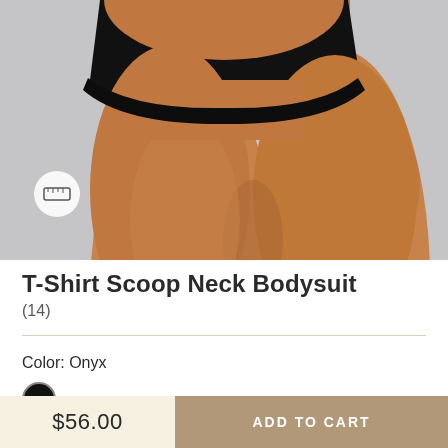[Figure (photo): Close-up photo of a model wearing a black scoop neck bodysuit, showing the lower torso and upper thigh area against a light gray background. A circular ruler/measure icon is overlaid on the lower left of the image.]
T-Shirt Scoop Neck Bodysuit
(14)
Color: Onyx
$56.00
ADD TO CART